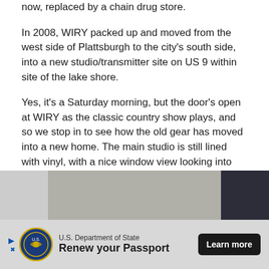now, replaced by a chain drug store.
In 2008, WIRY packed up and moved from the west side of Plattsburgh to the city's south side, into a new studio/transmitter site on US 9 within site of the lake shore.
Yes, it's a Saturday morning, but the door's open at WIRY as the classic country show plays, and so we stop in to see how the old gear has moved into a new home. The main studio is still lined with vinyl, with a nice window view looking into the front hallway on one side and the newsroom on the other. (Check out the RCA ribbon mike that made the move and is still the main on-air mike!)
[Figure (photo): Partial view of a radio station interior, showing a hallway and a dark panel on the right edge.]
U.S. Department of State – Renew your Passport – Learn more (advertisement)